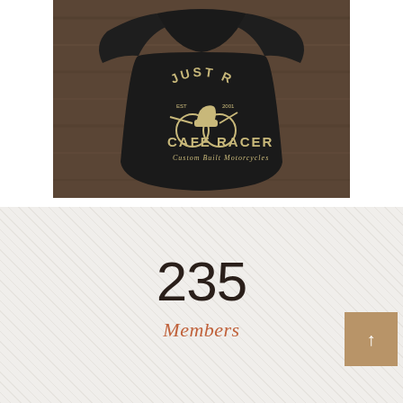[Figure (photo): A black t-shirt laid on a wooden surface, featuring vintage motorcycle graphic design with text 'JUST RIDE', 'CAFE RACER', 'Custom Built Motorcycles' and a motorcycle illustration in tan/gold color]
235
Members